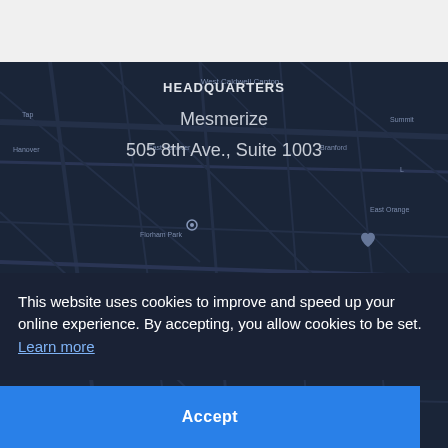[Figure (map): Dark-themed map background showing the New Jersey/New York area with road networks and place name labels such as East Hanover, West Caldwell, Canton, Hanover, Branford, East Orange, and others. A location pin marker is visible near the center.]
HEADQUARTERS
Mesmerize
505 8th Ave., Suite 1003
This website uses cookies to improve and speed up your online experience. By accepting, you allow cookies to be set. Learn more
Accept